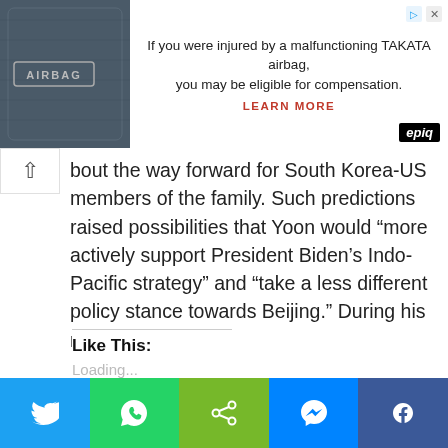[Figure (screenshot): Advertisement banner: TAKATA airbag injury compensation ad with 'LEARN MORE' and epiq logo]
bout the way forward for South Korea-US members of the family. Such predictions raised possibilities that Yoon would “more actively support President Biden’s Indo-Pacific strategy” and “take a less different policy stance towards Beijing.” During his marketing campaign, Yoon […]
Share Post:
[Figure (infographic): Social share buttons: Twitter, Facebook, LinkedIn, Telegram, WhatsApp circular icons]
Like This:
Loading...
[Figure (infographic): Bottom share bar with Twitter, WhatsApp, Share, Messenger, Facebook buttons]